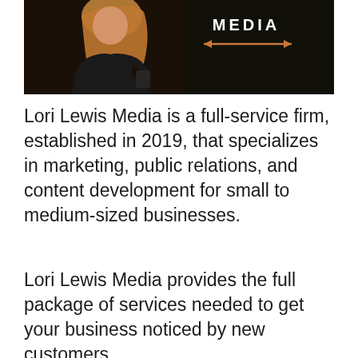[Figure (photo): A woman with long blonde hair wearing a black top, holding a small dark object, photographed against a dark/black background. In the upper right of the image, the text 'MEDIA' appears in white bold letters with a horizontal double-headed arrow in orange/brown below it.]
Lori Lewis Media is a full-service firm, established in 2019, that specializes in marketing, public relations, and content development for small to medium-sized businesses.
Lori Lewis Media provides the full package of services needed to get your business noticed by new customers.